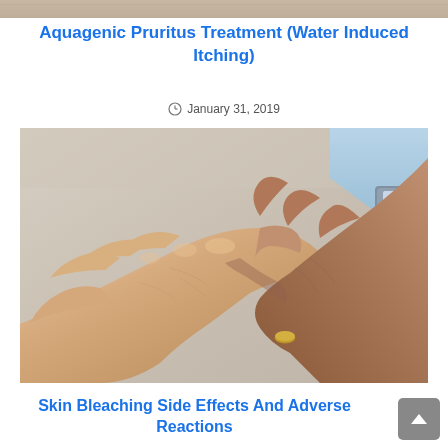[Figure (photo): Top strip of a photograph, partially cropped]
Aquagenic Pruritus Treatment (Water Induced Itching)
January 31, 2019
[Figure (photo): Two people shaking hands, close-up photo showing skin texture and a gold ring on one hand, one person wearing a light blue sleeve with a watch]
Skin Bleaching Side Effects And Adverse Reactions